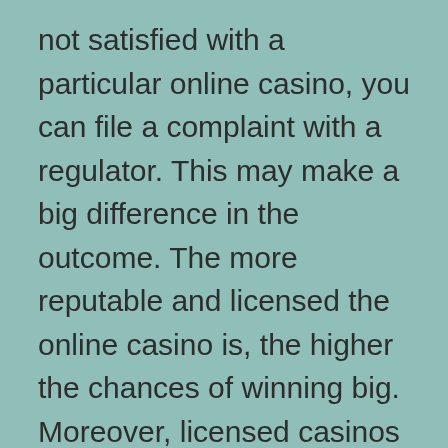not satisfied with a particular online casino, you can file a complaint with a regulator. This may make a big difference in the outcome. The more reputable and licensed the online casino is, the higher the chances of winning big. Moreover, licensed casinos have high standards for customer service.
Another key aspect of a reputable online casino is security. It should have several methods for depositing and withdrawing funds. Most reputable online casinos accept Visa and Mastercard credit cards as well as third-party payment methods like e-wallets, virtual credit